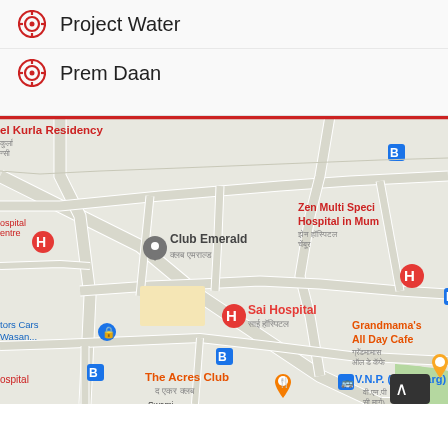Project Water
Prem Daan
[Figure (map): Google Maps view of Chembur area, Mumbai, showing Club Emerald, Sai Hospital, Zen Multi Speciality Hospital, The Acres Club, V.N.P. (R.C. Marg), Grandmama's All Day Cafe, Swami Vivekanand Chowk, and bus stop markers.]